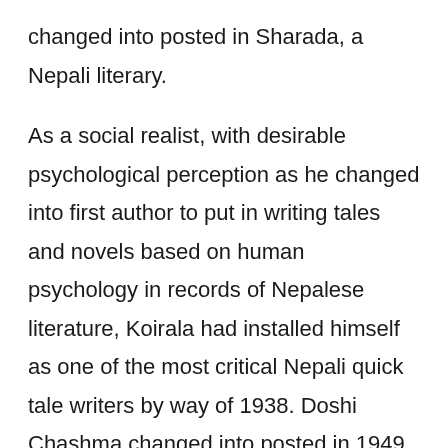changed into posted in Sharada, a Nepali literary.
As a social realist, with desirable psychological perception as he changed into first author to put in writing tales and novels based on human psychology in records of Nepalese literature, Koirala had installed himself as one of the most critical Nepali quick tale writers by way of 1938. Doshi Chashma changed into posted in 1949. He turned into one in all splendid